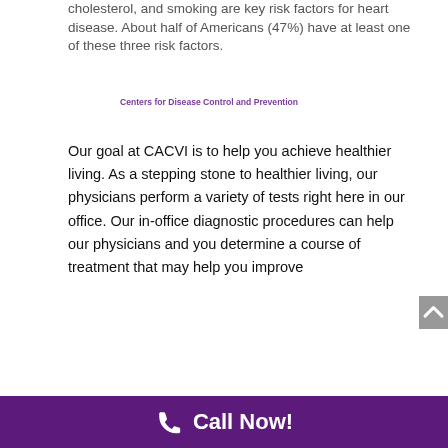cholesterol, and smoking are key risk factors for heart disease. About half of Americans (47%) have at least one of these three risk factors.
Centers for Disease Control and Prevention
Our goal at CACVI is to help you achieve healthier living. As a stepping stone to healthier living, our physicians perform a variety of tests right here in our office. Our in-office diagnostic procedures can help our physicians and you determine a course of treatment that may help you improve
Call Now!